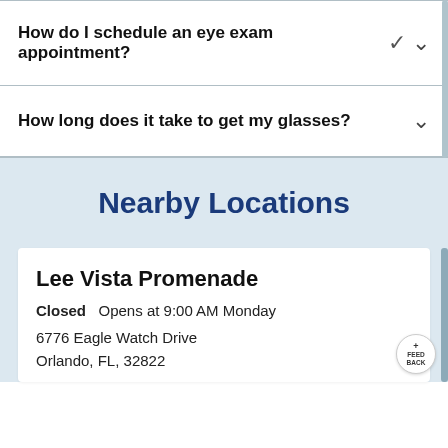How do I schedule an eye exam appointment?
How long does it take to get my glasses?
Nearby Locations
Lee Vista Promenade
Closed   Opens at 9:00 AM Monday
6776 Eagle Watch Drive
Orlando, FL, 32822